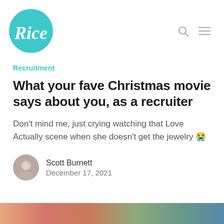Rice
Recruitment
What your fave Christmas movie says about you, as a recruiter
Don't mind me, just crying watching that Love Actually scene when she doesn't get the jewelry 😭
Scott Burnett
December 17, 2021
[Figure (photo): Colorful bottom strip image, partially visible at the bottom of the page]